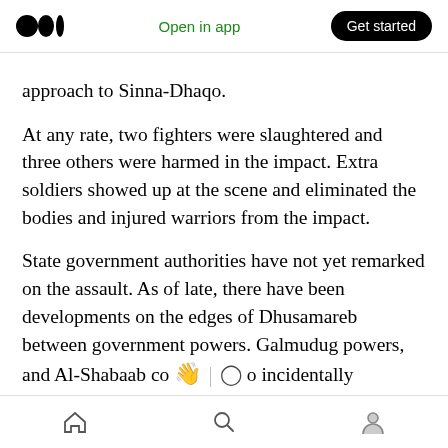Medium logo | Open in app | Get started
approach to Sinna-Dhaqo.
At any rate, two fighters were slaughtered and three others were harmed in the impact. Extra soldiers showed up at the scene and eliminated the bodies and injured warriors from the impact.
State government authorities have not yet remarked on the assault. As of late, there have been developments on the edges of Dhusamareb between government powers. Galmudug powers, and Al-Shabaab co [emoji] | [bubble] o incidentally assault the organization's capital